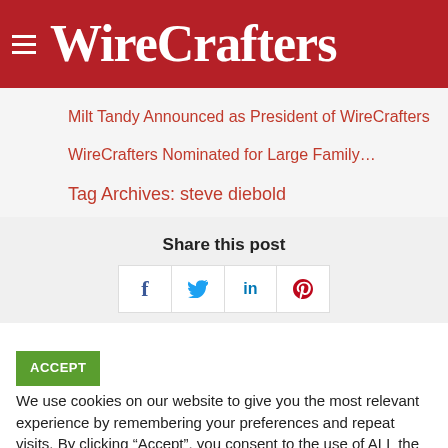WireCrafters
Milt Tandy Announced as President of WireCrafters
WireCrafters Nominated for Large Family…
Tag Archives: steve diebold
Share this post
ACCEPT We use cookies on our website to give you the most relevant experience by remembering your preferences and repeat visits. By clicking "Accept", you consent to the use of ALL the cookies.
Cookie settings